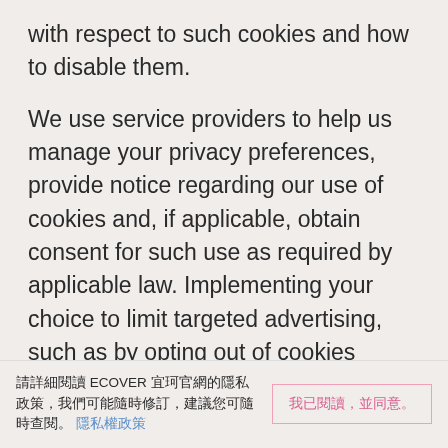with respect to such cookies and how to disable them.
We use service providers to help us manage your privacy preferences, provide notice regarding our use of cookies and, if applicable, obtain consent for such use as required by applicable law. Implementing your choice to limit targeted advertising, such as by opting out of cookies placed in our website, may itself require placing a cookie in your computer. As a result, if you delete those cookies you will need to opt out again to limit targeted advertising.
請詳細閱讀 ECOVER 宜珂官網的隱私政策，我們可能隨時修訂，建議您可隨時查閱。隱私權政策
我已閱讀，並同意。